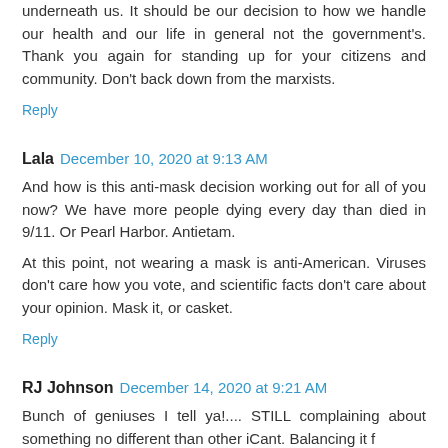underneath us. It should be our decision to how we handle our health and our life in general not the government's. Thank you again for standing up for your citizens and community. Don't back down from the marxists.
Reply
Lala  December 10, 2020 at 9:13 AM
And how is this anti-mask decision working out for all of you now? We have more people dying every day than died in 9/11. Or Pearl Harbor. Antietam.
At this point, not wearing a mask is anti-American. Viruses don't care how you vote, and scientific facts don't care about your opinion. Mask it, or casket.
Reply
RJ Johnson  December 14, 2020 at 9:21 AM
Bunch of geniuses I tell ya!.... STILL complaining about something no different than other iCant. Balancing it f